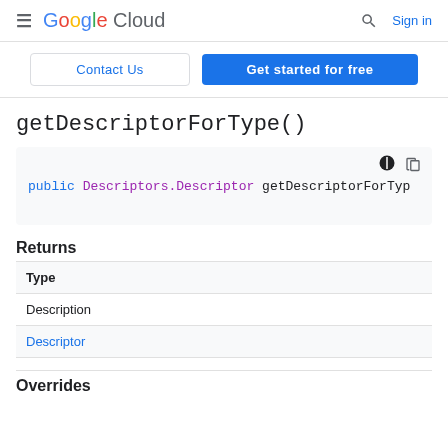Google Cloud  Sign in
Contact Us  |  Get started for free
getDescriptorForType()
[Figure (screenshot): Code block showing: public Descriptors.Descriptor getDescriptorForTyp...]
Returns
| Type | Description |
| --- | --- |
| Descriptor |  |
Overrides